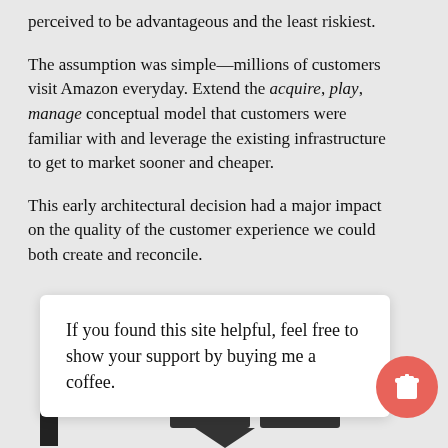perceived to be advantageous and the least riskiest.
The assumption was simple—millions of customers visit Amazon everyday. Extend the acquire, play, manage conceptual model that customers were familiar with and leverage the existing infrastructure to get to market sooner and cheaper.
This early architectural decision had a major impact on the quality of the customer experience we could both create and reconcile.
If you found this site helpful, feel free to show your support by buying me a coffee.
[Figure (illustration): A circular salmon/coral colored button with a coffee cup icon (takeaway cup with lid)]